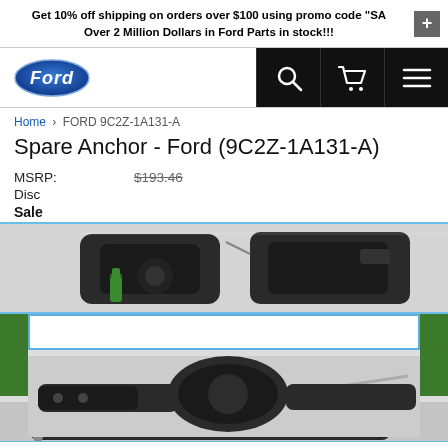Get 10% off shipping on orders over $100 using promo code "SA" Over 2 Million Dollars in Ford Parts in stock!!!
[Figure (logo): Ford oval blue logo]
[Figure (screenshot): Navigation bar with search, cart, and menu icons on black background]
Home > FORD 9C2Z-1A131-A
Spare Anchor - Ford (9C2Z-1A131-A)
MSRP: $193.46
Disc
Sale
[Figure (photo): Multiple views of the Ford spare tire anchor/winch assembly showing black metal bracket with green spring components and cable wire]